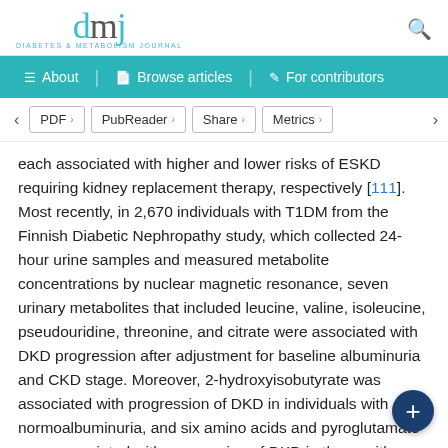dmj DIABETES & METABOLISM JOURNAL
each associated with higher and lower risks of ESKD requiring kidney replacement therapy, respectively [111]. Most recently, in 2,670 individuals with T1DM from the Finnish Diabetic Nephropathy study, which collected 24-hour urine samples and measured metabolite concentrations by nuclear magnetic resonance, seven urinary metabolites that included leucine, valine, isoleucine, pseudouridine, threonine, and citrate were associated with DKD progression after adjustment for baseline albuminuria and CKD stage. Moreover, 2-hydroxyisobutyrate was associated with progression of DKD in individuals with normoalbuminuria, and six amino acids and pyroglutamate were associated with progression of DKD in those with macroalbuminuria [112].